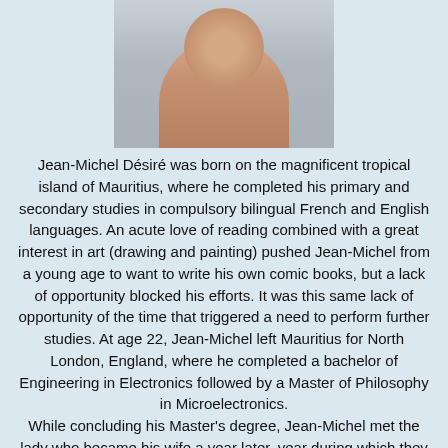[Figure (photo): Portrait photo of Jean-Michel Désiré, a man photographed from shoulders up against a light background]
Jean-Michel Désiré was born on the magnificent tropical island of Mauritius, where he completed his primary and secondary studies in compulsory bilingual French and English languages. An acute love of reading combined with a great interest in art (drawing and painting) pushed Jean-Michel from a young age to want to write his own comic books, but a lack of opportunity blocked his efforts. It was this same lack of opportunity of the time that triggered a need to perform further studies. At age 22, Jean-Michel left Mauritius for North London, England, where he completed a bachelor of Engineering in Electronics followed by a Master of Philosophy in Microelectronics. While concluding his Master's degree, Jean-Michel met the lady who became his wife a year later, year during which they also moved to Montreal Canada where Jean-Michel had been offered an engineering position in the Aerospace industry. Life had its own agenda, and within the first eighteen months, their daughter was born in the middle of a